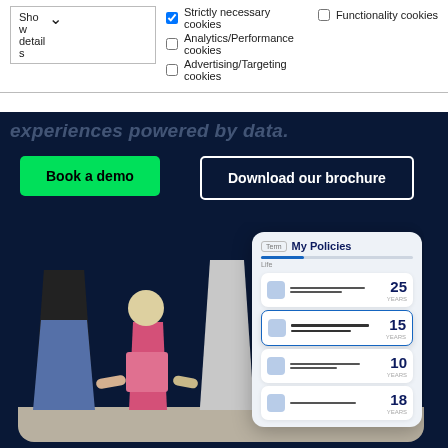☑ Strictly necessary cookies   ☐ Functionality cookies
☐ Analytics/Performance cookies
☐ Advertising/Targeting cookies
Show details
experiences powered by data.
Book a demo
Download our brochure
[Figure (screenshot): Insurance portal UI card showing 'My Policies' tab with Life policies listed at 25 years, 15 years, 10 years, and 18 years, overlaid on a photo of a family (two adults and a child) holding hands from behind.]